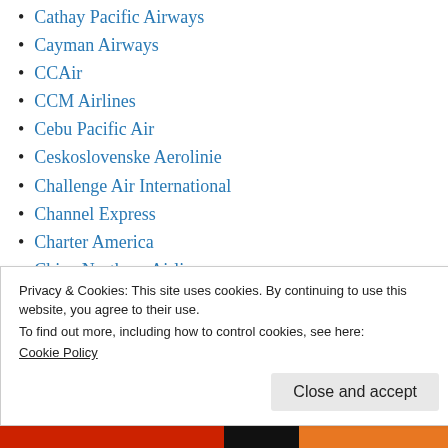Cathay Pacific Airways
Cayman Airways
CCAir
CCM Airlines
Cebu Pacific Air
Ceskoslovenske Aerolinie
Challenge Air International
Channel Express
Charter America
China Northern Airlines
Privacy & Cookies: This site uses cookies. By continuing to use this website, you agree to their use.
To find out more, including how to control cookies, see here: Cookie Policy